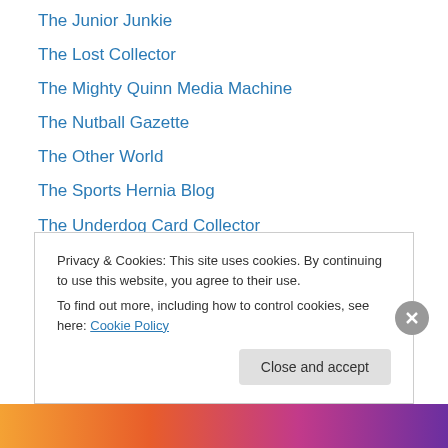The Junior Junkie
The Lost Collector
The Mighty Quinn Media Machine
The Nutball Gazette
The Other World
The Sports Hernia Blog
The Underdog Card Collector
The Wax Morgue
The Writer's Journey
Thorzul Will Rule
Thoughts And Sox
THU – The Yankee U
Trade Bait – The Great Chase
Privacy & Cookies: This site uses cookies. By continuing to use this website, you agree to their use.
To find out more, including how to control cookies, see here: Cookie Policy
Close and accept